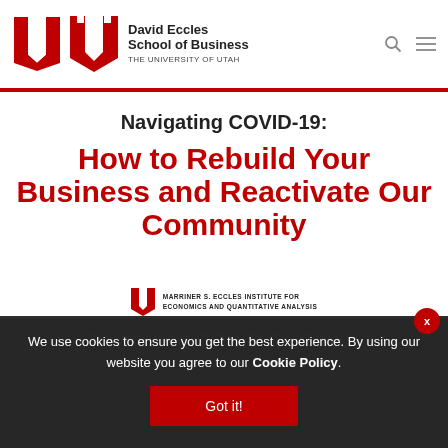[Figure (logo): David Eccles School of Business, The University of Utah logo with red U block mark]
Navigating COVID-19: How to Rebuild Your Business and Reactivate Our Community
[Figure (logo): Marriner S. Eccles Institute for Economics and Quantitative Analysis logo]
Navigating COVID-19 Series
We use cookies to ensure you get the best experience. By using our website you agree to our Cookie Policy.
Got it!